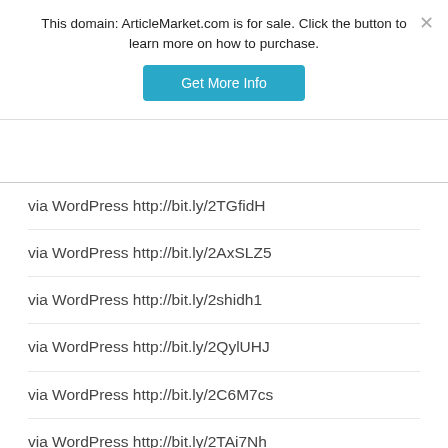This domain: ArticleMarket.com is for sale. Click the button to learn more on how to purchase.
via WordPress http://bit.ly/2TGfidH
via WordPress http://bit.ly/2AxSLZ5
via WordPress http://bit.ly/2shidh1
via WordPress http://bit.ly/2QylUHJ
via WordPress http://bit.ly/2C6M7cs
via WordPress http://bit.ly/2TAi7Nh
via WordPress http://bit.ly/2Fjgek7
via WordPress http://bit.ly/2QuKgaV